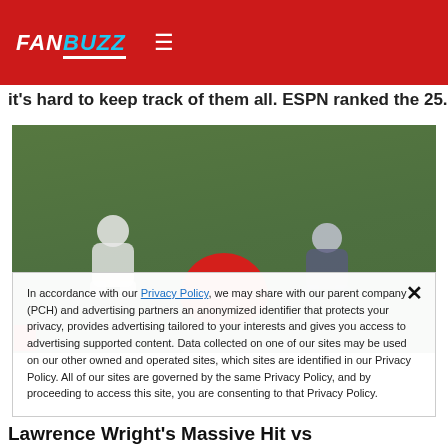FANBUZZ
it's hard to keep track of them all. ESPN ranked the 25...
[Figure (photo): Two football players on a green field with a red ball/overlay in the center]
In accordance with our Privacy Policy, we may share with our parent company (PCH) and advertising partners an anonymized identifier that protects your privacy, provides advertising tailored to your interests and gives you access to advertising supported content. Data collected on one of our sites may be used on our other owned and operated sites, which sites are identified in our Privacy Policy. All of our sites are governed by the same Privacy Policy, and by proceeding to access this site, you are consenting to that Privacy Policy.
Lawrence Wright's Massive Hit vs